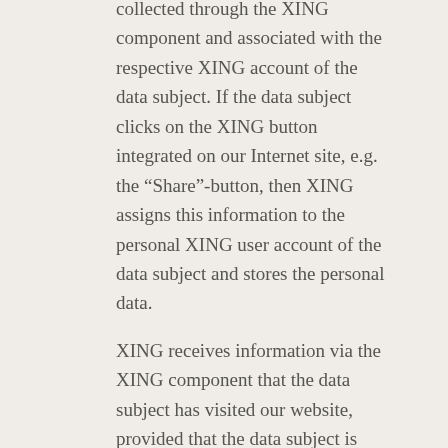collected through the XING component and associated with the respective XING account of the data subject. If the data subject clicks on the XING button integrated on our Internet site, e.g. the “Share”-button, then XING assigns this information to the personal XING user account of the data subject and stores the personal data.
XING receives information via the XING component that the data subject has visited our website, provided that the data subject is logged in at XING at